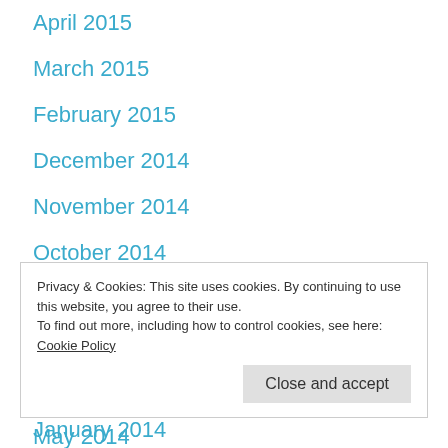April 2015
March 2015
February 2015
December 2014
November 2014
October 2014
September 2014
August 2014
June 2014
May 2014
Privacy & Cookies: This site uses cookies. By continuing to use this website, you agree to their use.
To find out more, including how to control cookies, see here: Cookie Policy
January 2014